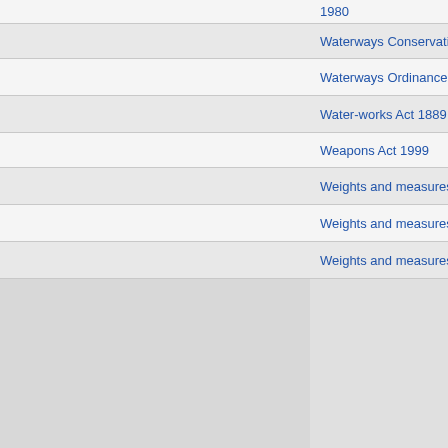| Act Name | Number | Icons |
| --- | --- | --- |
| 1980 (partial) |  |  |
| Waterways Conservation Amendment Act 1982 | 097 of 1982 | PDF Word Globe Cart Play |
| Waterways Ordinance 1854 | 1854 (17 Vict. No. 4) | PDF Word Globe Cart Play |
| Water-works Act 1889 | 1889 (53 Vict. No. 13) | PDF Word Globe Cart Play |
| Weapons Act 1999 | 018 of 1999 | PDF Word Globe Cart Play |
| Weights and measures (1832) | 1833 (3 Will. IV No. 2) | PDF Word Globe Cart Play |
| Weights and measures (1851) | 1851 (14 Vict. No. 19) | PDF Word Globe Cart Play |
| Weights and measures (1855) | 1855 (18 Vict. ... | PDF Word Globe Cart Play |